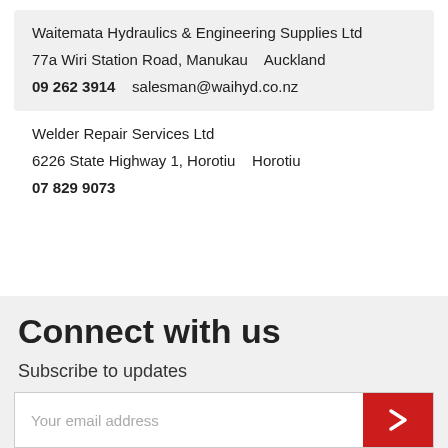Waitemata Hydraulics & Engineering Supplies Ltd
77a Wiri Station Road, Manukau   Auckland
09 262 3914   salesman@waihyd.co.nz
Welder Repair Services Ltd
6226 State Highway 1, Horotiu   Horotiu
07 829 9073
Connect with us
Subscribe to updates
Your email address